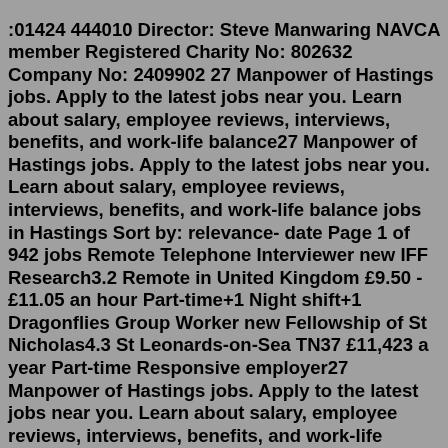:01424 444010 Director: Steve Manwaring NAVCA member Registered Charity No: 802632 Company No: 2409902 27 Manpower of Hastings jobs. Apply to the latest jobs near you. Learn about salary, employee reviews, interviews, benefits, and work-life balance27 Manpower of Hastings jobs. Apply to the latest jobs near you. Learn about salary, employee reviews, interviews, benefits, and work-life balance jobs in Hastings Sort by: relevance- date Page 1 of 942 jobs Remote Telephone Interviewer new IFF Research3.2 Remote in United Kingdom £9.50 - £11.05 an hour Part-time+1 Night shift+1 Dragonflies Group Worker new Fellowship of St Nicholas4.3 St Leonards-on-Sea TN37 £11,423 a year Part-time Responsive employer27 Manpower of Hastings jobs. Apply to the latest jobs near you. Learn about salary, employee reviews, interviews, benefits, and work-life balance296 Hastings Jobs Jobs - 24 July 2022 | Indeed.com Upload your CV - Let employers find you Hastings Jobs jobs Sort by: relevance - date Page 1 of